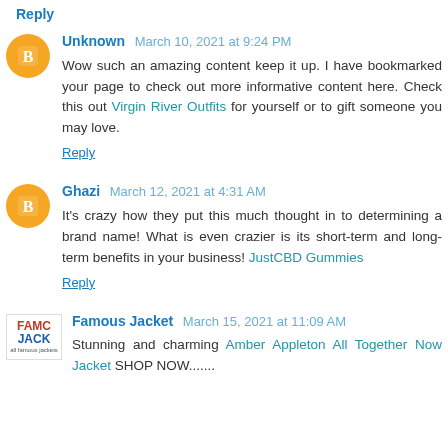Reply
Unknown March 10, 2021 at 9:24 PM
Wow such an amazing content keep it up. I have bookmarked your page to check out more informative content here. Check this out Virgin River Outfits for yourself or to gift someone you may love.
Reply
Ghazi March 12, 2021 at 4:31 AM
It's crazy how they put this much thought in to determining a brand name! What is even crazier is its short-term and long-term benefits in your business! JustCBD Gummies
Reply
Famous Jacket March 15, 2021 at 11:09 AM
Stunning and charming Amber Appleton All Together Now Jacket SHOP NOW.......